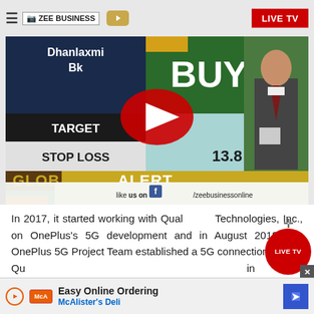ZEE BUSINESS | LIVE TV
[Figure (screenshot): Video thumbnail showing a Zee Business TV broadcast with 'BUY' signal for Dhanlaxmi Bk, TARGET, STOP LOSS 13.8, GLOBAL ALERT banner, YouTube play button overlay, and Facebook like prompt at bottom]
In 2017, it started working with Qualcomm Technologies, Inc., on OnePlus's 5G development and in August 2018, the OnePlus 5G Project Team established a 5G connection to Qualcomm... in San...
[Figure (infographic): LIVE TV floating red circular button overlay]
[Figure (infographic): Advertisement banner: Easy Online Ordering - McAlister's Deli with play button, logo, and blue arrow navigation icon]